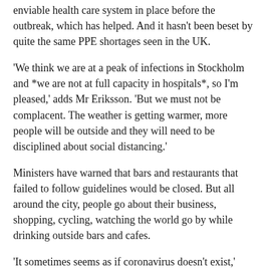enviable health care system in place before the outbreak, which has helped. And it hasn't been beset by quite the same PPE shortages seen in the UK.
'We think we are at a peak of infections in Stockholm and *we are not at full capacity in hospitals*, so I'm pleased,' adds Mr Eriksson. 'But we must not be complacent. The weather is getting warmer, more people will be outside and they will need to be disciplined about social distancing.'
Ministers have warned that bars and restaurants that failed to follow guidelines would be closed. But all around the city, people go about their business, shopping, cycling, watching the world go by while drinking outside bars and cafes.
'It sometimes seems as if coronavirus doesn't exist,' says Andreas Hatzigeorgiou from Stockholm's chamber of commerce. 'Things are moving normally. People do observe social distancing – though we did it before Covid-19, it is in our DNA!'
He knows Sweden's economy will suffer – it is doing so